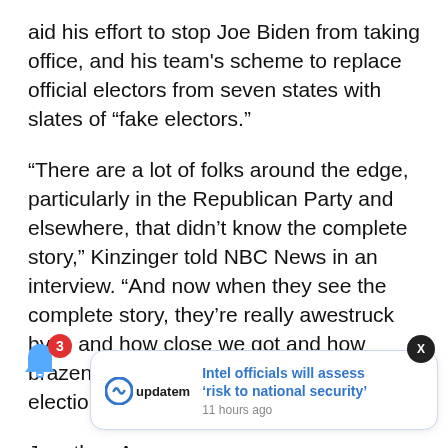aid his effort to stop Joe Biden from taking office, and his team's scheme to replace official electors from seven states with slates of “fake electors.”
“There are a lot of folks around the edge, particularly in the Republican Party and elsewhere, that didn’t know the complete story,” Kinzinger told NBC News in an interview. “And now when they see the complete story, they’re really awestruck by it, and how close we got and how brazen this attempt was to change the election.”
Jonathan A... porter for... ashington.
[Figure (screenshot): Updatem notification card with headline 'Intel officials will assess ‘risk to national security’' and timestamp '11 hours ago', with a bell icon showing badge count 3 and a close (X) button.]